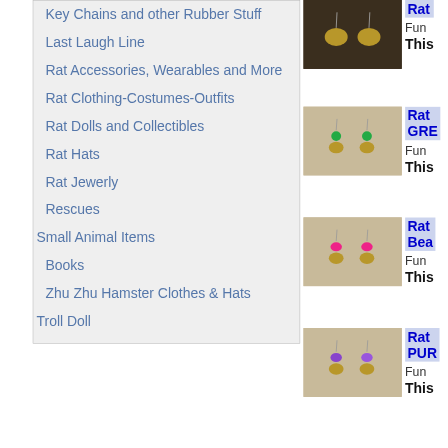Key Chains and other Rubber Stuff
Last Laugh Line
Rat Accessories, Wearables and More
Rat Clothing-Costumes-Outfits
Rat Dolls and Collectibles
Rat Hats
Rat Jewerly
Rescues
Small Animal Items
Books
Zhu Zhu Hamster Clothes & Hats
Troll Doll
[Figure (photo): Gold rat earrings on dark background]
Rat
Fun
This
[Figure (photo): Rat earrings with green beads on tan background]
Rat GRE
Fun
This
[Figure (photo): Rat earrings with pink/magenta beads on tan background]
Rat Bea
Fun
This
[Figure (photo): Rat earrings with purple beads on tan background]
Rat PUR
Fun
This